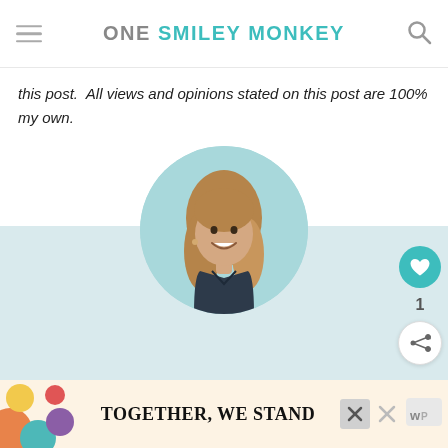ONE SMILEY MONKEY
this post.  All views and opinions stated on this post are 100% my own.
[Figure (photo): Author profile photo: smiling woman with long brown hair and dark wrap top, displayed in a circular crop on a light teal background circle, above a light blue-gray section.]
ABOUT THE AUTHOR
Angela V.
[Figure (infographic): Advertisement banner at the bottom reading 'TOGETHER, WE STAND' with colorful decorative shapes on the left and a close button on the right.]